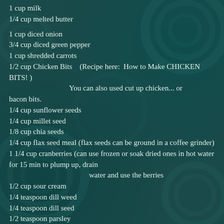1 cup milk
1/4 cup melted butter
1 cup diced onion
3/4 cup diced green pepper
1 cup shredded carrots
1/2 cup Chicken Bits   (Recipe here:  How to Make CHICKEN BITS! )
You can also used cut up chicken... or bacon bits.
1/4 cup sunflower seeds
1/4 cup millet seed
1/8 cup chia seeds
1/4 cup flax seed meal (flax seeds can be ground in a coffee grinder)
1 1/4 cup cranberries (can use frozen or soak dried ones in hot water for 15 min to plump up, drain
water and use the berries
1/2 cup sour cream
1/4 teaspoon dill weed
1/4 teaspoon dill seed
1/2 teaspoon parsley